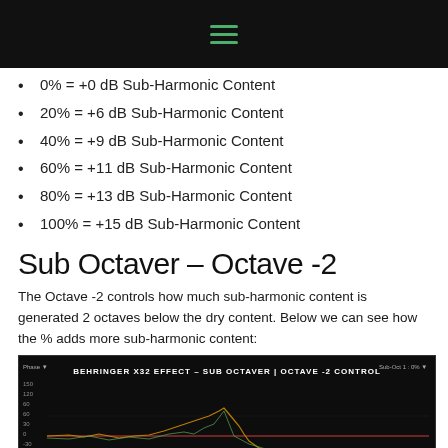0% = +0 dB Sub-Harmonic Content
20% = +6 dB Sub-Harmonic Content
40% = +9 dB Sub-Harmonic Content
60% = +11 dB Sub-Harmonic Content
80% = +13 dB Sub-Harmonic Content
100% = +15 dB Sub-Harmonic Content
Sub Octaver – Octave -2
The Octave -2 controls how much sub-harmonic content is generated 2 octaves below the dry content. Below we can see how the % adds more sub-harmonic content:
[Figure (screenshot): Screenshot of Behringer X32 Effect – Sub Octaver | Octave -2 Control frequency/phase analysis graph on dark background, showing phase and magnitude plots across frequency range from approximately 11.5 Hz to 18k Hz.]